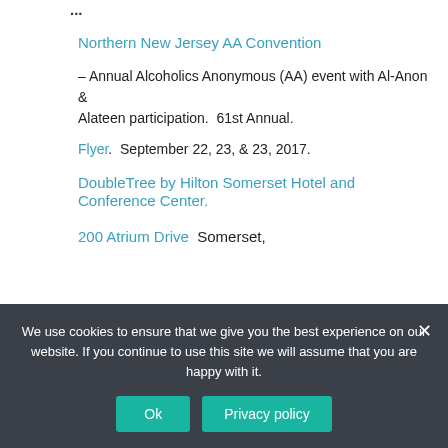...
Northern New Jersey AA Convention
– Annual Alcoholics Anonymous (AA) event with Al-Anon & Alateen participation.  61st Annual.
Flyer.  September 22, 23, & 23, 2017.
DoubleTree by Hilton Somerset Hotel and Conference Center.
200 Atrium Drive   Somerset,
We use cookies to ensure that we give you the best experience on our website. If you continue to use this site we will assume that you are happy with it.
Ok
Privacy policy